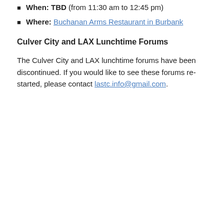When: TBD (from 11:30 am to 12:45 pm)
Where: Buchanan Arms Restaurant in Burbank
Culver City and LAX Lunchtime Forums
The Culver City and LAX lunchtime forums have been discontinued. If you would like to see these forums re-started, please contact lastc.info@gmail.com.